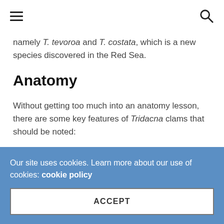[hamburger menu icon] [search icon]
namely T. tevoroa and T. costata, which is a new species discovered in the Red Sea.
Anatomy
Without getting too much into an anatomy lesson, there are some key features of Tridacna clams that should be noted:
As mentioned before, they have brilliantly colored mantles. The mantles are filled with zooxanthellae, much like photosynthetic coral. Zooxanthellae are dinoflagellates of the genus Symbiodinium. They collect
Our site uses cookies. Learn more about our use of cookies: cookie policy
ACCEPT